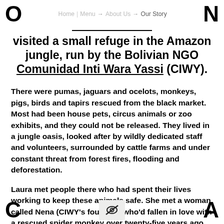O   Home | Menu → About Us → Our Story   N
visited a small refuge in the Amazon jungle, run by the Bolivian NGO Comunidad Inti Wara Yassi (CIWY).
There were pumas, jaguars and ocelots, monkeys, pigs, birds and tapirs rescued from the black market. Most had been house pets, circus animals or zoo exhibits, and they could not be released. They lived in a jungle oasis, looked after by wildly dedicated staff and volunteers, surrounded by cattle farms and under constant threat from forest fires, flooding and deforestation.
Laura met people there who had spent their lives working to keep these animals safe. She met a woman called Nena (CIWY's founder), who'd fallen in love with a rescued spider monkey over twenty-five years ago and promised to never
C   [eye-slash icon]   A